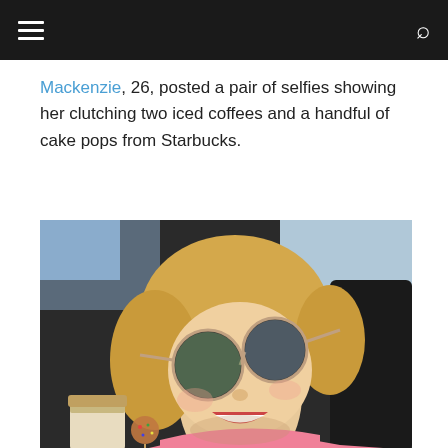Navigation bar with hamburger menu and search icon
Mackenzie, 26, posted a pair of selfies showing her clutching two iced coffees and a handful of cake pops from Starbucks.
[Figure (photo): A smiling blonde woman wearing aviator-style sunglasses taking a selfie in a car, holding Starbucks items including a cake pop and iced coffee. She is wearing a pink top.]